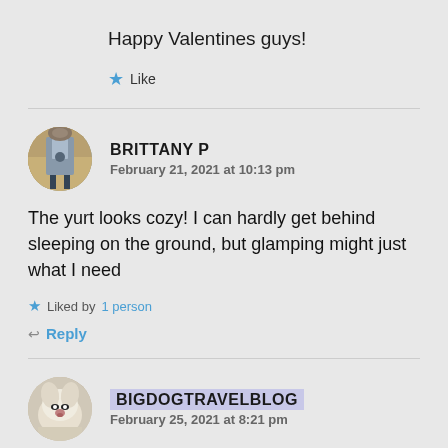Happy Valentines guys!
★ Like
BRITTANY P
February 21, 2021 at 10:13 pm
The yurt looks cozy! I can hardly get behind sleeping on the ground, but glamping might just what I need
★ Liked by 1 person
↩ Reply
BIGDOGTRAVELBLOG
February 25, 2021 at 8:21 pm